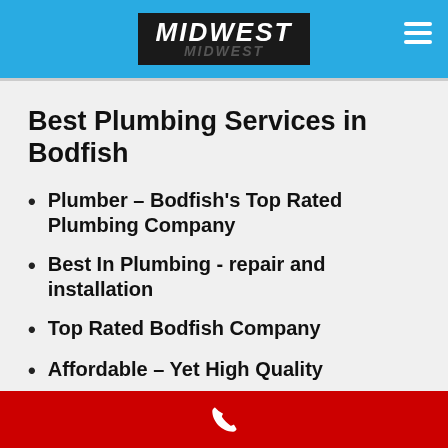MIDWEST
Best Plumbing Services in Bodfish
Plumber – Bodfish's Top Rated Plumbing Company
Best In Plumbing - repair and installation
Top Rated Bodfish Company
Affordable – Yet High Quality
Commercial Services – We Services All
[phone icon]